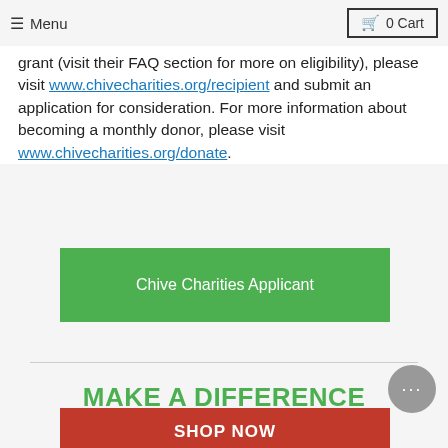Menu  0 Cart
grant (visit their FAQ section for more on eligibility), please visit www.chivecharities.org/recipient and submit an application for consideration. For more information about becoming a monthly donor, please visit www.chivecharities.org/donate.
Chive Charities Applicant
MAKE A DIFFERENCE
DONATE AT CHECKOUT
SHOP NOW